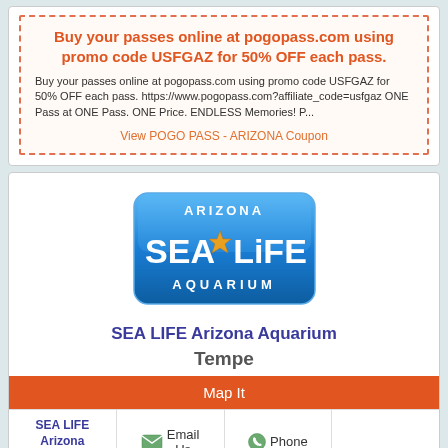Buy your passes online at pogopass.com using promo code USFGAZ for 50% OFF each pass.
Buy your passes online at pogopass.com using promo code USFGAZ for 50% OFF each pass. https://www.pogopass.com?affiliate_code=usfgaz ONE Pass at ONE Pass. ONE Price. ENDLESS Memories! P...
View POGO PASS - ARIZONA Coupon
[Figure (logo): Arizona SEA LIFE AQUARIUM logo — blue gradient rounded rectangle with white text and starfish graphic]
SEA LIFE Arizona Aquarium
Tempe
Map It
|  | Email Us | Phone |  |
| --- | --- | --- | --- |
| SEA LIFE Arizona Aquarium | Email Us | Phone |  |